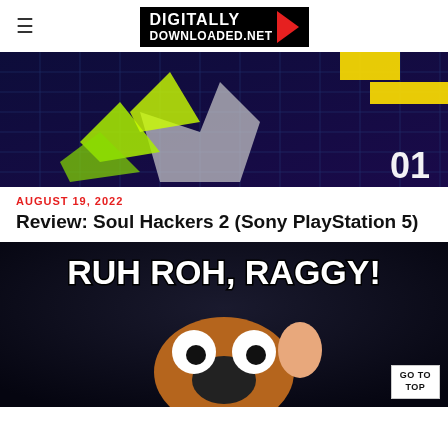≡  DIGITALLY DOWNLOADED.net
[Figure (screenshot): Game screenshot showing a geometric, neon-colored character with yellow and green angular shapes on a dark blue grid background. Number '01' displayed in bottom right.]
AUGUST 19, 2022
Review: Soul Hackers 2 (Sony PlayStation 5)
[Figure (illustration): Scooby-Doo cartoon image with large bold white text 'RUH ROH, RAGGY!' on dark background. Scooby-Doo character visible below the text with wide eyes.]